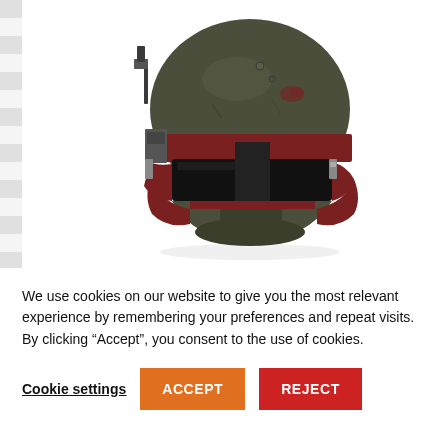[Figure (photo): Boba Fett Re-Armored Premium Electronic Helmet from Star Wars The Black Series, a dark olive/grey helmet with dark red/maroon accents and a black visor, shown on a white background with grey striped borders]
Star Wars The Black Series Boba Fett (Re-Armored) Premium Electronic Helmet
We use cookies on our website to give you the most relevant experience by remembering your preferences and repeat visits. By clicking “Accept”, you consent to the use of cookies.
Cookie settings   ACCEPT   REJECT